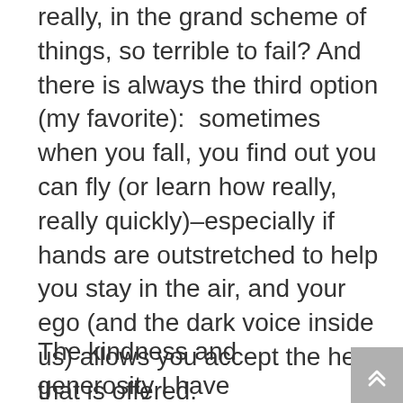really, in the grand scheme of things, so terrible to fail?  And there is always the third option (my favorite):  sometimes when you fall, you find out you can fly (or learn how really, really quickly)–especially if hands are outstretched to help you stay in the air, and your ego (and the dark voice inside us) allows you accept the help that is offered.
The kindness and generosity I have